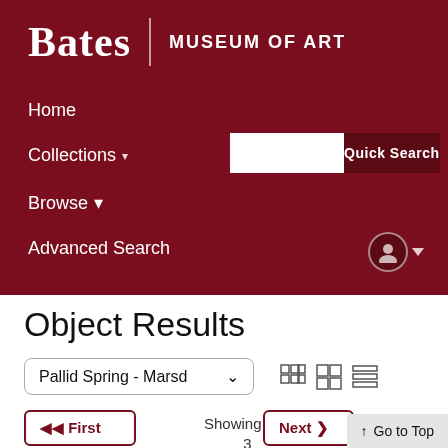Bates | MUSEUM OF ART
Home
Collections ▾
Browse ▾
Advanced Search
Object Results
Pallid Spring - Marsd
⊞  ⊟  ≡
⏮ First
Showing 2 of 3
Next ❯
◀ Previous
Last ⏭
↑ Go to Top